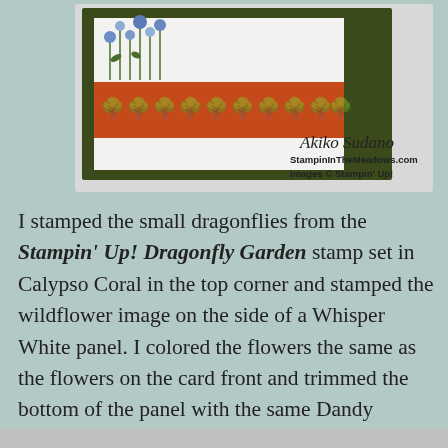[Figure (photo): A handmade greeting card with dark olive green border, white interior, a terracotta/orange patterned strip with white tree silhouettes, and wildflowers at the top. Signature 'Akiko Sudano' and 'StampinInTheMeadows.com / Images © Stampin' Up!' on the right.]
I stamped the small dragonflies from the Stampin' Up! Dragonfly Garden stamp set in Calypso Coral in the top corner and stamped the wildflower image on the side of a Whisper White panel. I colored the flowers the same as the flowers on the card front and trimmed the bottom of the panel with the same Dandy Garden DSP as the card front.